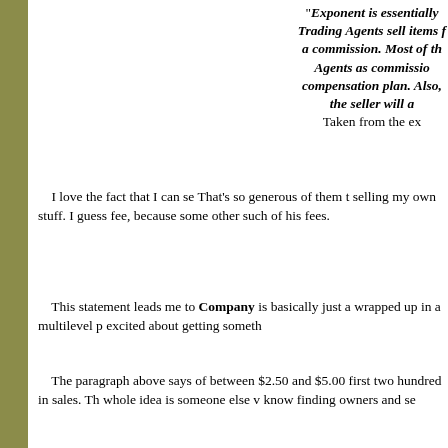"Exponent is essentially Trading Agents sell items f a commission. Most of th Agents as commissio compensation plan. Also, the seller will a Taken from the ex
I love the fact that I can se That's so generous of them t selling my own stuff. I guess fee, because some other such of his fees.
This statement leads me to Company is basically just a wrapped up in a multilevel p excited about getting someth
The paragraph above says of between $2.50 and $5.00 first two hundred in sales. Th whole idea is someone else v know finding owners and se